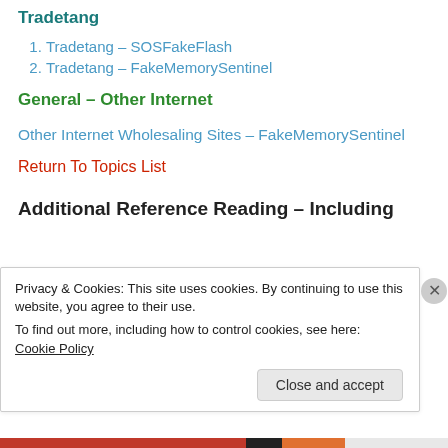Tradetang
Tradetang – SOSFakeFlash
Tradetang – FakeMemorySentinel
General – Other Internet
Other Internet Wholesaling Sites – FakeMemorySentinel
Return To Topics List
Additional Reference Reading – Including
Privacy & Cookies: This site uses cookies. By continuing to use this website, you agree to their use.
To find out more, including how to control cookies, see here: Cookie Policy
Close and accept